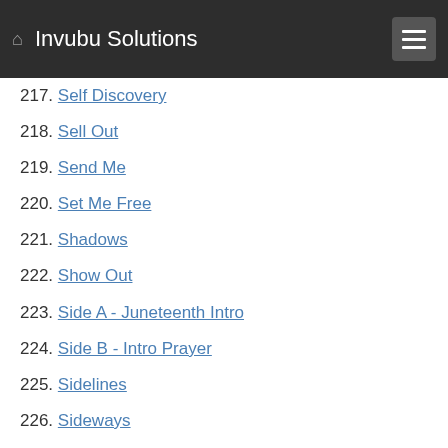Invubu Solutions
217. Self Discovery
218. Sell Out
219. Send Me
220. Set Me Free
221. Shadows
222. Show Out
223. Side A - Juneteenth Intro
224. Side B - Intro Prayer
225. Sidelines
226. Sideways
227. Souled Out
228. Spazz
229. Special
230. Still
231. Streets
232. Strung Out
233. Sunday Morning
234. Switch